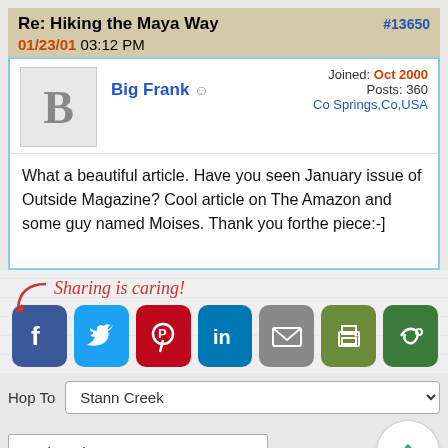Re: Hiking the Maya Way   #13650
01/23/01 03:12 PM
Big Frank
Joined: Oct 2000
Posts: 360
Co Springs,Co,USA
What a beautiful article. Have you seen January issue of Outside Magazine? Cool article on The Amazon and some guy named Moises. Thank you forthe piece:-]
[Figure (infographic): Sharing is caring! social share buttons: Facebook, Twitter, Pinterest, LinkedIn, Email, Print, More]
Hop To   Stann Creek
AmbergrisCaye
show/hide columns on this page